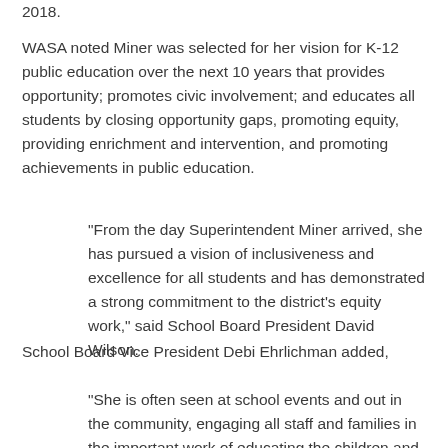2018.
WASA noted Miner was selected for her vision for K-12 public education over the next 10 years that provides opportunity; promotes civic involvement; and educates all students by closing opportunity gaps, promoting equity, providing enrichment and intervention, and promoting achievements in public education.
“From the day Superintendent Miner arrived, she has pursued a vision of inclusiveness and excellence for all students and has demonstrated a strong commitment to the district’s equity work,” said School Board President David Wilson.
School Board Vice President Debi Ehrlichman added,
“She is often seen at school events and out in the community, engaging all staff and families in the important work of educating the children and